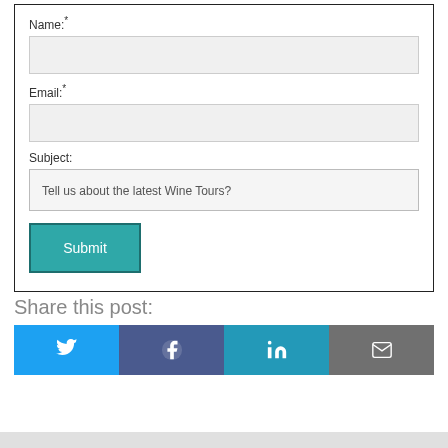Name:*
[Figure (screenshot): Empty text input field for Name]
Email:*
[Figure (screenshot): Empty text input field for Email]
Subject:
Tell us about the latest Wine Tours?
[Figure (screenshot): Submit button in teal color]
Share this post:
[Figure (infographic): Social share buttons: Twitter (blue bird), Facebook (dark blue circle with f), LinkedIn (teal with 'in'), Email (gray envelope)]